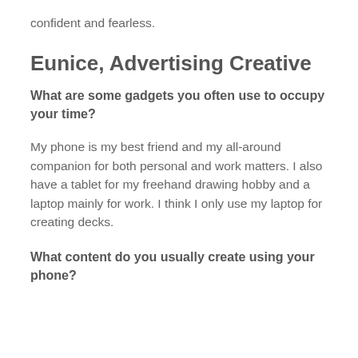confident and fearless.
Eunice, Advertising Creative
What are some gadgets you often use to occupy your time?
My phone is my best friend and my all-around companion for both personal and work matters. I also have a tablet for my freehand drawing hobby and a laptop mainly for work. I think I only use my laptop for creating decks.
What content do you usually create using your phone?